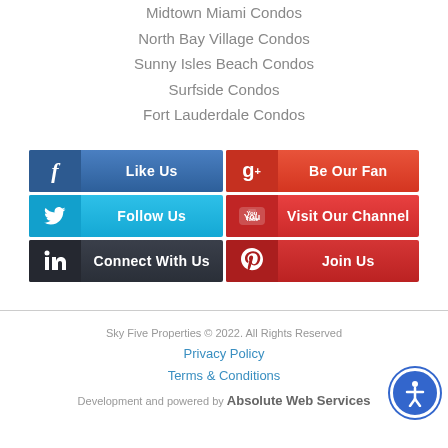Midtown Miami Condos
North Bay Village Condos
Sunny Isles Beach Condos
Surfside Condos
Fort Lauderdale Condos
[Figure (infographic): Social media buttons grid: Like Us (Facebook), Be Our Fan (Google+), Follow Us (Twitter), Visit Our Channel (YouTube), Connect With Us (LinkedIn), Join Us (Pinterest)]
Sky Five Properties © 2022. All Rights Reserved
Privacy Policy
Terms & Conditions
Development and powered by Absolute Web Services